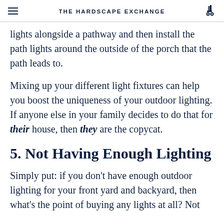THE HARDSCAPE EXCHANGE
lights alongside a pathway and then install the path lights around the outside of the porch that the path leads to.
Mixing up your different light fixtures can help you boost the uniqueness of your outdoor lighting. If anyone else in your family decides to do that for their house, then they are the copycat.
5. Not Having Enough Lighting
Simply put: if you don't have enough outdoor lighting for your front yard and backyard, then what's the point of buying any lights at all? Not